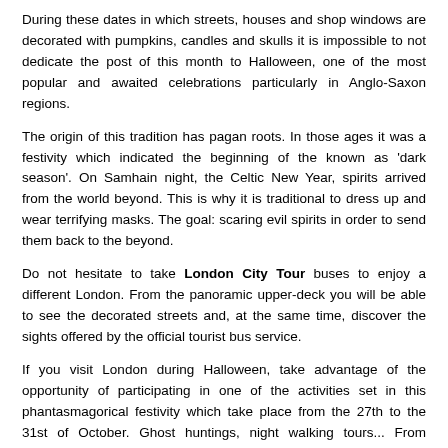During these dates in which streets, houses and shop windows are decorated with pumpkins, candles and skulls it is impossible to not dedicate the post of this month to Halloween, one of the most popular and awaited celebrations particularly in Anglo-Saxon regions.
The origin of this tradition has pagan roots. In those ages it was a festivity which indicated the beginning of the known as 'dark season'. On Samhain night, the Celtic New Year, spirits arrived from the world beyond. This is why it is traditional to dress up and wear terrifying masks. The goal: scaring evil spirits in order to send them back to the beyond.
Do not hesitate to take London City Tour buses to enjoy a different London. From the panoramic upper-deck you will be able to see the decorated streets and, at the same time, discover the sights offered by the official tourist bus service.
If you visit London during Halloween, take advantage of the opportunity of participating in one of the activities set in this phantasmagorical festivity which take place from the 27th to the 31st of October. Ghost huntings, night walking tours... From London City Tour we advise you to visit the terrifying Jack The Ripper Museum or the